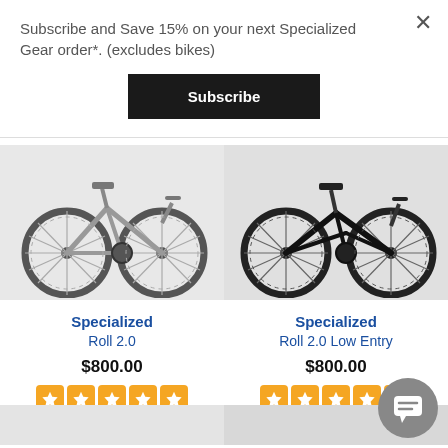Subscribe and Save 15% on your next Specialized Gear order*. (excludes bikes)
Subscribe
[Figure (photo): Photo of a silver/grey Specialized Roll 2.0 bicycle]
[Figure (photo): Photo of a black Specialized Roll 2.0 Low Entry bicycle]
Specialized
Roll 2.0
$800.00
5 stars - 2 Reviews
Specialized
Roll 2.0 Low Entry
$800.00
5 stars - 1 Review
[Figure (photo): Partial view of bicycle at bottom left]
[Figure (photo): Partial view of bicycle at bottom right]